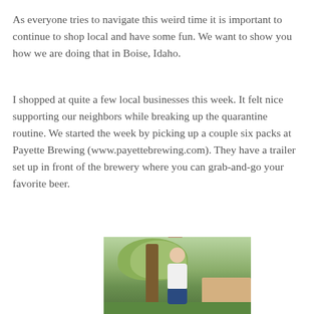As everyone tries to navigate this weird time it is important to continue to shop local and have some fun.  We want to show you how we are doing that in Boise, Idaho.
I shopped at quite a few local businesses this week.  It felt nice supporting our neighbors while breaking up the quarantine routine.  We started the week by picking up a couple six packs at Payette Brewing (www.payettebrewing.com).  They have a trailer set up in front of the brewery where you can grab-and-go your favorite beer.
[Figure (photo): A woman standing outdoors in a backyard with trees and a wooden fence in the background, wearing a white t-shirt and jeans, smiling.]